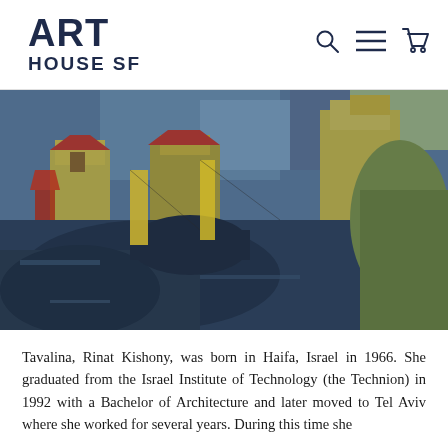ART HOUSE SF
[Figure (photo): Colorful expressionist painting of a city/harbor scene with buildings in yellow, red, and blue tones, dark foreground with abstract cityscape]
Tavalina, Rinat Kishony, was born in Haifa, Israel in 1966. She graduated from the Israel Institute of Technology (the Technion) in 1992 with a Bachelor of Architecture and later moved to Tel Aviv where she worked for several years. During this time she